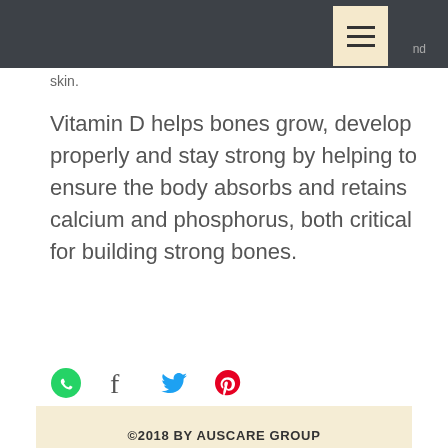nd skin.
Vitamin D helps bones grow, develop properly and stay strong by helping to ensure the body absorbs and retains calcium and phosphorus, both critical for building strong bones.
[Figure (infographic): Social sharing icons: WhatsApp (green), Facebook (dark grey), Twitter (blue), Pinterest (red/pink)]
©2018 BY AUSCARE GROUP